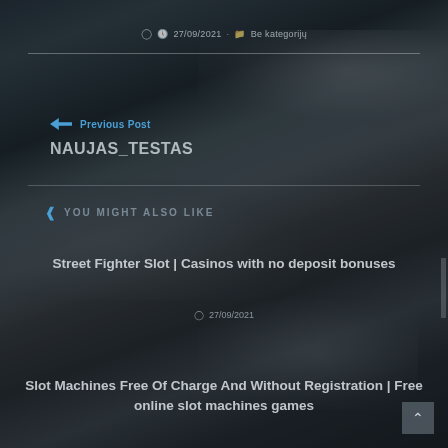27/09/2021 · Be kategorijų
← Previous Post
NAUJAS_TESTAS
YOU MIGHT ALSO LIKE
Street Fighter Slot | Casinos with no deposit bonuses
27/09/2021
Slot Machines Free Of Charge And Without Registration | Free online slot machines games